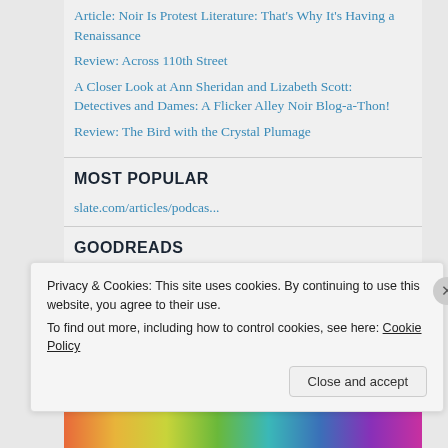Article: Noir Is Protest Literature: That's Why It's Having a Renaissance
Review: Across 110th Street
A Closer Look at Ann Sheridan and Lizabeth Scott: Detectives and Dames: A Flicker Alley Noir Blog-a-Thon!
Review: The Bird with the Crystal Plumage
MOST POPULAR
slate.com/articles/podcas...
GOODREADS
Privacy & Cookies: This site uses cookies. By continuing to use this website, you agree to their use.
To find out more, including how to control cookies, see here: Cookie Policy
Close and accept